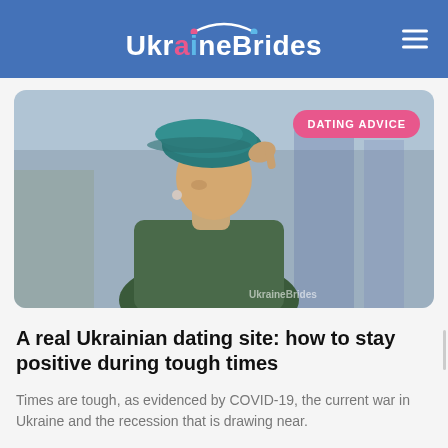Ukraine Brides
[Figure (photo): A young woman wearing a green beret hat and dark green turtleneck sweater, looking down and touching her hat brim with her fingers. Blurred outdoor background. Watermark 'UkraineBrides' in bottom right. Badge reading 'DATING ADVICE' in top right corner.]
A real Ukrainian dating site: how to stay positive during tough times
Times are tough, as evidenced by COVID-19, the current war in Ukraine and the recession that is drawing near.